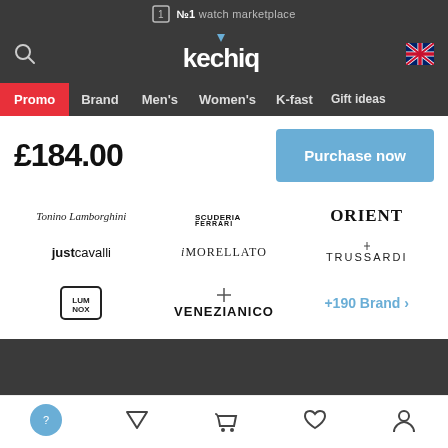№1 watch marketplace
[Figure (screenshot): Kechiq logo with UK flag icon and search icon in dark navigation bar]
[Figure (screenshot): Navigation menu: Promo (red), Brand, Men's, Women's, K-fast, Gift ideas]
£184.00
[Figure (screenshot): Purchase now button (light blue)]
[Figure (screenshot): Brand logos grid: Tonino Lamborghini, Scuderia Ferrari, ORIENT, Just Cavalli, iMORELLATO, TRUSSARDI, LUMINOX, VENEZIANICO, +190 Brand >]
Bottom navigation: filter, cart, wishlist, account